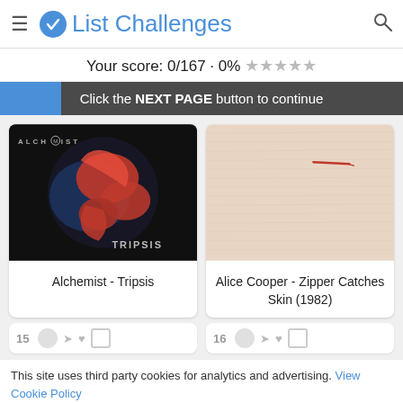List Challenges
Your score: 0/167 · 0% ★★★★★
Click the NEXT PAGE button to continue
[Figure (photo): Album cover for Alchemist - Tripsis, dark background with red dragon-like creature and blue circular element, text ALCH(EM)IST and TRIPSIS]
Alchemist - Tripsis
[Figure (photo): Album cover for Alice Cooper - Zipper Catches Skin (1982), light beige/skin textured background with a small red zipper element]
Alice Cooper - Zipper Catches Skin (1982)
This site uses third party cookies for analytics and advertising. View Cookie Policy
ACCEPT  REJECT